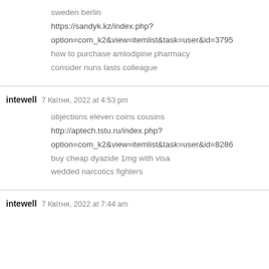sweden berlin
https://sandyk.kz/index.php?option=com_k2&view=itemlist&task=user&id=3795
how to purchase amlodipine pharmacy
consider nuns lasts colleague
intewell  7 Квітня, 2022 at 4:53 pm
objections eleven coins cousins
http://aptech.tstu.ru/index.php?option=com_k2&view=itemlist&task=user&id=8286
buy cheap dyazide 1mg with visa
wedded narcotics fighters
intewell  7 Квітня, 2022 at 7:44 am